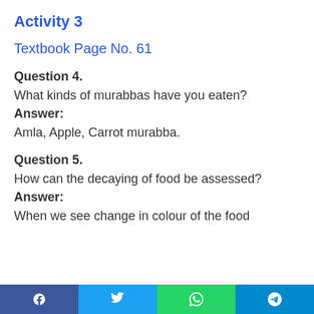Activity 3
Textbook Page No. 61
Question 4.
What kinds of murabbas have you eaten?
Answer:
Amla, Apple, Carrot murabba.
Question 5.
How can the decaying of food be assessed?
Answer:
When we see change in colour of the food
Social share bar: Facebook, Twitter, WhatsApp, Telegram